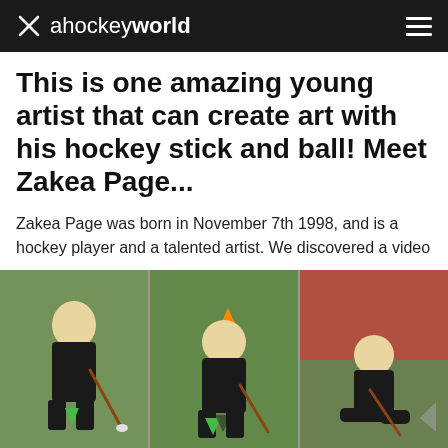ahockeyworld
This is one amazing young artist that can create art with his hockey stick and ball! Meet Zakea Page...
Zakea Page was born in November 7th 1998, and is a hockey player and a talented artist. We discovered a video
Read more
[Figure (photo): Three-panel photo strip showing a young blonde child in black sports kit playing hockey on a green turf court, shown from different angles across the panels.]